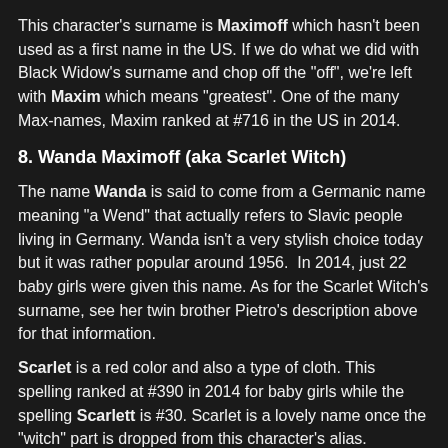This character's surname is Maximoff which hasn't been used as a first name in the US. If we do what we did with Black Widow's surname and chop off the "off", we're left with Maxim which means "greatest". One of the many Max-names, Maxim ranked at #716 in the US in 2014.
8. Wanda Maximoff (aka Scarlet Witch)
The name Wanda is said to come from a Germanic name meaning "a Wend" that actually refers to Slavic people living in Germany. Wanda isn't a very stylish choice today but it was rather popular around 1956.  In 2014, just 22 baby girls were given this name. As for the Scarlet Witch's surname, see her twin brother Pietro's description above for that information.
Scarlet is a red color and also a type of cloth. This spelling ranked at #390 in 2014 for baby girls while the spelling Scarlett is #30. Scarlet is a lovely name once the "witch" part is dropped from this character's alias.